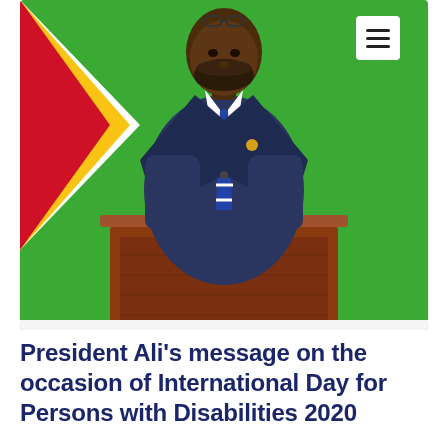[Figure (photo): A man in a dark navy suit with a striped blue and white tie stands at a wooden podium/lectern. He has a beard and glasses pushed up on his head. He wears a gold pin on his lapel. In the background is a bright green screen/wall and a red, yellow, and green flag (Guyana flag) to the left. A hamburger menu icon button is visible in the upper right corner over the photo.]
President Ali's message on the occasion of International Day for Persons with Disabilities 2020